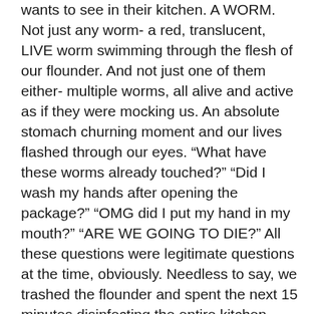wants to see in their kitchen. A WORM. Not just any worm- a red, translucent, LIVE worm swimming through the flesh of our flounder. And not just one of them either- multiple worms, all alive and active as if they were mocking us. An absolute stomach churning moment and our lives flashed through our eyes. “What have these worms already touched?” “Did I wash my hands after opening the package?” “OMG did I put my hand in my mouth?” “ARE WE GOING TO DIE?” All these questions were legitimate questions at the time, obviously. Needless to say, we trashed the flounder and spent the next 15 minutes disinfecting the entire kitchen. Then the googling happened… stories of people dying and stories of worms completely destroying your kidneys popped up. Let’s just say, the googling should have never happened. Later, after I washed my hands for the tenth time, Brian did read about how flounders can have worms but they are normally pulled out when they are deboned at the store so the